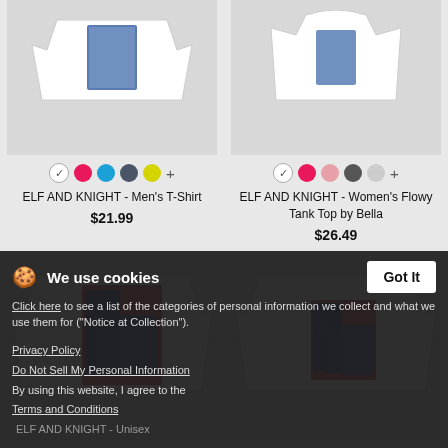[Figure (photo): White men's t-shirt with ELF AND KNIGHT graphic print on grey background]
[Figure (photo): White women's flowy tank top with ELF AND KNIGHT graphic print on grey background]
ELF AND KNIGHT - Men's T-Shirt
$21.99
ELF AND KNIGHT - Women's Flowy Tank Top by Bella
$26.49
[Figure (photo): White unisex t-shirt with ELF AND KNIGHT graphic print showing knight and elf on red background]
[Figure (photo): White t-shirt with ELF AND KNIGHT graphic print showing knight and elf on red background]
We use cookies
Click here to see a list of the categories of personal information we collect and what we use them for ("Notice at Collection").
Privacy Policy
Do Not Sell My Personal Information
By using this website, I agree to the Terms and Conditions
ELF AND KNIGHT - Unisex